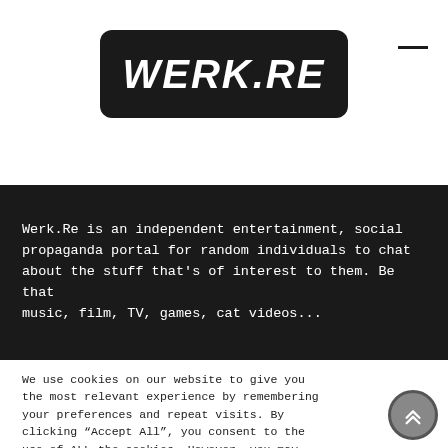[Figure (logo): WERK.RE logo in white bold italic text on dark rounded rectangle background]
Werk.Re is an independent entertainment, social propaganda portal for random individuals to chat about the stuff that's of interest to them. Be that music, film, TV, games, cat videos...
We use cookies on our website to give you the most relevant experience by remembering your preferences and repeat visits. By clicking “Accept All”, you consent to the use of ALL the cookies. However, you may visit “Cookie Settings” to provide a controlled consent.
Cookie Settings
Accept All